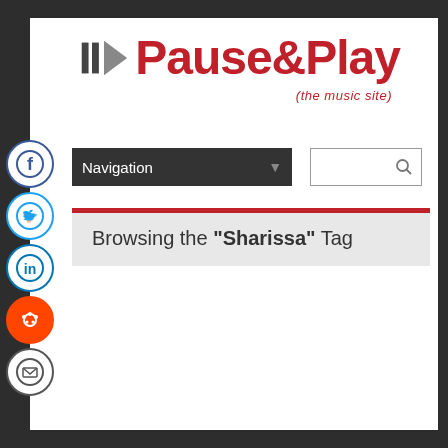[Figure (logo): Pause&Play (the music site) logo with media player symbols and red bold text]
[Figure (infographic): Social media sidebar icons: Facebook, Twitter, LinkedIn, Reddit, Email]
Navigation dropdown bar with search box
Browsing the "Sharissa" Tag